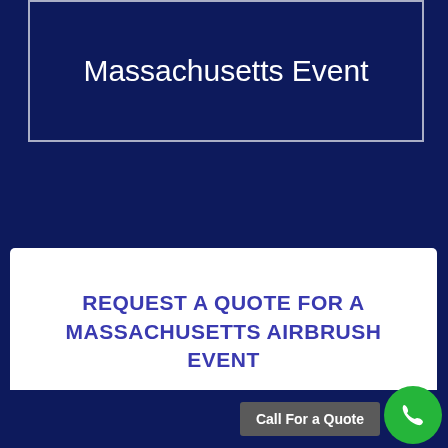Massachusetts Event
Get the Party Started! That's it…
REQUEST A QUOTE FOR A MASSACHUSETTS AIRBRUSH EVENT
Call For a Quote